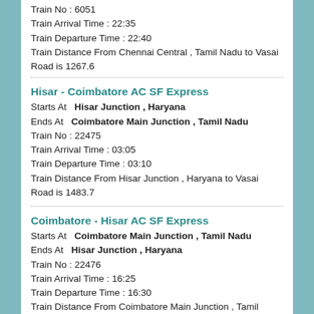Train No : 6051
Train Arrival Time : 22:35
Train Departure Time : 22:40
Train Distance From Chennai Central , Tamil Nadu to Vasai Road is 1267.6
Hisar - Coimbatore AC SF Express
Starts At   Hisar Junction , Haryana
Ends At   Coimbatore Main Junction , Tamil Nadu
Train No : 22475
Train Arrival Time : 03:05
Train Departure Time : 03:10
Train Distance From Hisar Junction , Haryana to Vasai Road is 1483.7
Coimbatore - Hisar AC SF Express
Starts At   Coimbatore Main Junction , Tamil Nadu
Ends At   Hisar Junction , Haryana
Train No : 22476
Train Arrival Time : 16:25
Train Departure Time : 16:30
Train Distance From Coimbatore Main Junction , Tamil Nadu to Vasai Road is 1299.1
Dadar - Virar Fast Local
Starts At   Dadar Western , Maharashtra
Ends At   Virar , Maharashtra
Train No : 90227
Train Arrival Time : 09:19
Train Departure Time : 09:20
Train Distance From Dadar Western , Maharashtra to ...